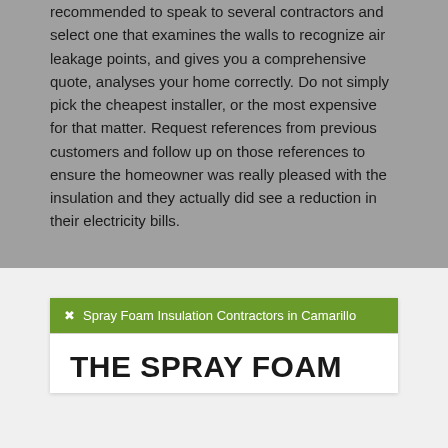recommended to speak to several contractors and select one that examines the walls to recognize air leakage points, and gives you a comprehensive quote, analyses your home correctly. Do not simply pick the cheapest installer, or the most expensive for that matter. Request references from previous customers and follow up on those references to ensure the homeowner was really pleased with the insulation and they actually did see a reduction in their electricity bills.
Spray Foam Insulation Contractors in Camarillo
THE SPRAY FOAM